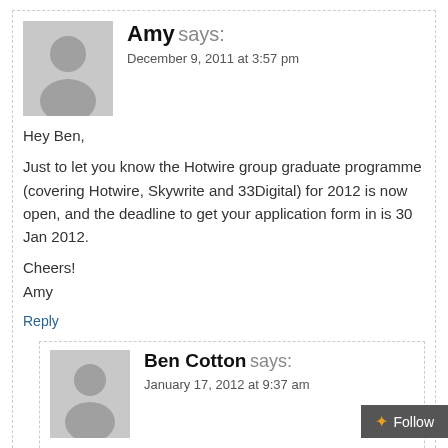Amy says: December 9, 2011 at 3:57 pm
Hey Ben,

Just to let you know the Hotwire group graduate programme (covering Hotwire, Skywrite and 33Digital) for 2012 is now open, and the deadline to get your application form in is 30 Jan 2012.

Cheers!
Amy
Reply
Ben Cotton says: January 17, 2012 at 9:37 am
Thanks, Amy – I've added Hotwire to the list.
Reply
James says: